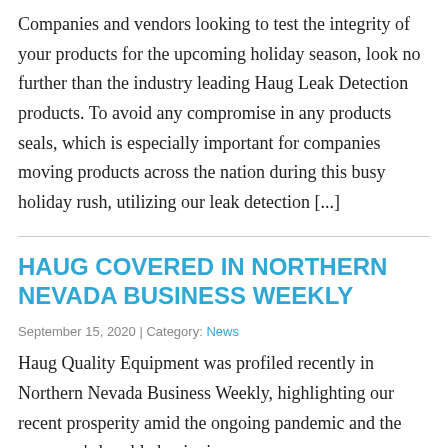Companies and vendors looking to test the integrity of your products for the upcoming holiday season, look no further than the industry leading Haug Leak Detection products. To avoid any compromise in any products seals, which is especially important for companies moving products across the nation during this busy holiday rush, utilizing our leak detection [...]
HAUG COVERED IN NORTHERN NEVADA BUSINESS WEEKLY
September 15, 2020 | Category: News
Haug Quality Equipment was profiled recently in Northern Nevada Business Weekly, highlighting our recent prosperity amid the ongoing pandemic and the company's humble beginnings...